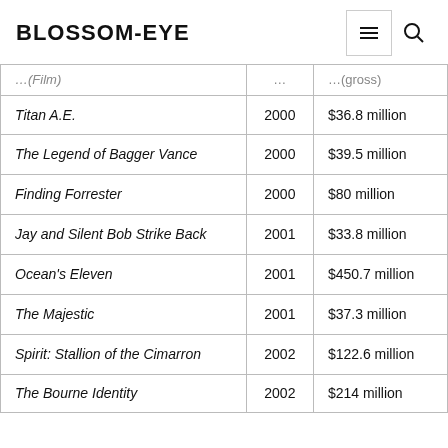BLOSSOM-EYE
| Film | Year | Box office gross |
| --- | --- | --- |
| Titan A.E. | 2000 | $36.8 million |
| The Legend of Bagger Vance | 2000 | $39.5 million |
| Finding Forrester | 2000 | $80 million |
| Jay and Silent Bob Strike Back | 2001 | $33.8 million |
| Ocean's Eleven | 2001 | $450.7 million |
| The Majestic | 2001 | $37.3 million |
| Spirit: Stallion of the Cimarron | 2002 | $122.6 million |
| The Bourne Identity | 2002 | $214 million |